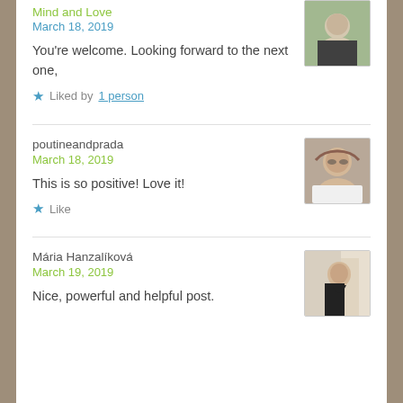Mind and Love
March 18, 2019
[Figure (photo): Avatar photo of a bald man in a black shirt]
You're welcome. Looking forward to the next one,
Liked by 1 person
poutineandprada
March 18, 2019
[Figure (photo): Avatar photo of a woman with glasses]
This is so positive! Love it!
Like
Mária Hanzalíková
March 19, 2019
[Figure (photo): Avatar photo of a woman in a black outfit]
Nice, powerful and helpful post.